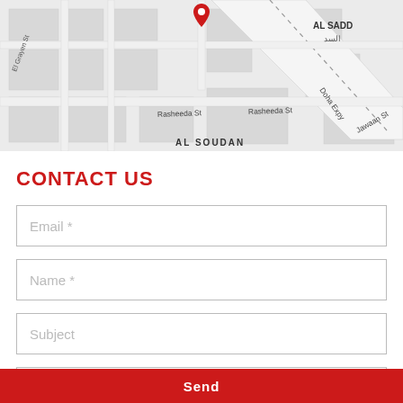[Figure (map): Street map showing Al Sadd area in Doha, Qatar with streets labeled: Rasheeda St, Doha Expy, Jawaan St, Al Soudan, with a red location pin marker at top center.]
CONTACT US
Email *
Name *
Subject
Message
Send